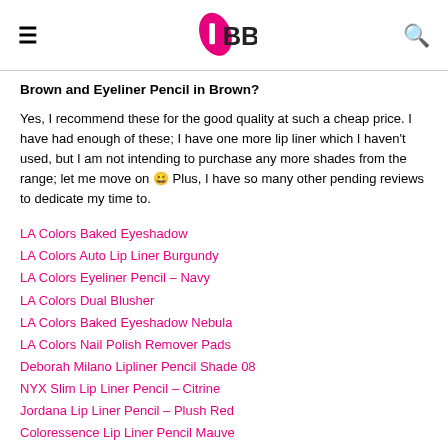IMBB
Brown and Eyeliner Pencil in Brown?
Yes, I recommend these for the good quality at such a cheap price. I have had enough of these; I have one more lip liner which I haven't used, but I am not intending to purchase any more shades from the range; let me move on 😀 Plus, I have so many other pending reviews to dedicate my time to.
LA Colors Baked Eyeshadow
LA Colors Auto Lip Liner Burgundy
LA Colors Eyeliner Pencil – Navy
LA Colors Dual Blusher
LA Colors Baked Eyeshadow Nebula
LA Colors Nail Polish Remover Pads
Deborah Milano Lipliner Pencil Shade 08
NYX Slim Lip Liner Pencil – Citrine
Jordana Lip Liner Pencil – Plush Red
Coloressence Lip Liner Pencil Mauve
Kryolan Theater Lip Liner Pencil in Pink
Chamber Rozzle Eye Liner Pencil – Black Rozzle